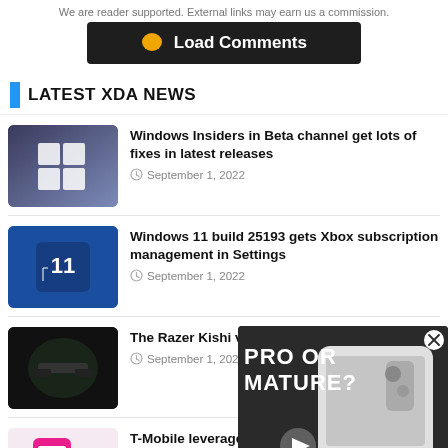We are reader supported. External links may earn us a commission.
[Figure (other): Load Comments dark button with yellow speech bubble icon]
LATEST XDA NEWS
Windows Insiders in Beta channel get lots of fixes in latest releases
September 1, 2022
Windows 11 build 25193 gets Xbox subscription management in Settings
September 1, 2022
The Razer Kishi v2 is no…
September 1, 2022
[Figure (other): Floating video overlay showing a white phone with text PRO OR MATURE? and a play button, with a close X button]
T-Mobile leverages eSIM…wireless carriers
September 1, 2022